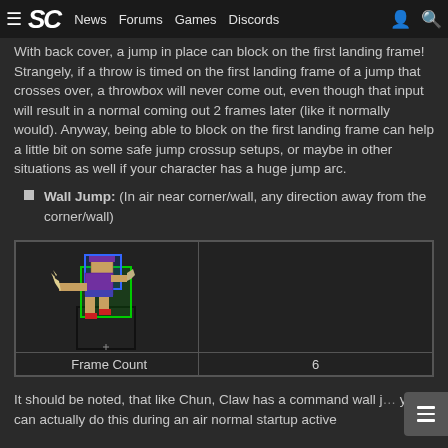≡ SC News Forums Games Discords [user icon] [search icon]
With back cover, a jump in place can block on the first landing frame! Strangely, if a throw is timed on the first landing frame of a jump that crosses over, a throwbox will never come out, even though that input will result in a normal coming out 2 frames later (like it normally would). Anyway, being able to block on the first landing frame can help a little bit on some safe jump crossup setups, or maybe in other situations as well if your character has a huge jump arc.
Wall Jump: (In air near corner/wall, any direction away from the corner/wall)
|  | Frame Count |
| --- | --- |
| [sprite image] |  |
| Frame Count | 6 |
It should be noted, that like Chun, Claw has a command wall ju you can actually do this during an air normal startup active